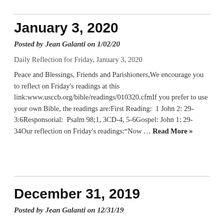January 3, 2020
Posted by Jean Galanti on 1/02/20
Daily Reflection for Friday, January 3, 2020
Peace and Blessings, Friends and Parishioners,We encourage you to reflect on Friday's readings at this link:www.usccb.org/bible/readings/010320.cfmIf you prefer to use your own Bible, the readings are:First Reading:  1 John 2: 29-3:6Responsorial:  Psalm 98;1, 3CD-4, 5-6Gospel: John 1: 29-34Our reflection on Friday's readings:“Now … Read More »
December 31, 2019
Posted by Jean Galanti on 12/31/19